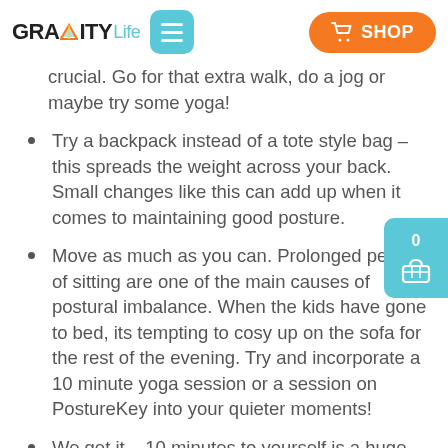[Figure (logo): Gravity Life logo with menu button and shop button]
crucial. Go for that extra walk, do a jog or maybe try some yoga!
Try a backpack instead of a tote style bag – this spreads the weight across your back. Small changes like this can add up when it comes to maintaining good posture.
Move as much as you can. Prolonged periods of sitting are one of the main causes of postural imbalance. When the kids have gone to bed, its tempting to cosy up on the sofa for the rest of the evening. Try and incorporate a 10 minute yoga session or a session on PostureKey into your quieter moments!
We get it – 10 minutes to yourself is a huge…